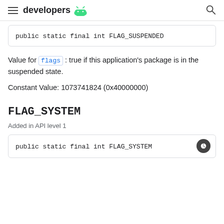developers
public static final int FLAG_SUSPENDED
Value for flags : true if this application's package is in the suspended state.
Constant Value: 1073741824 (0x40000000)
FLAG_SYSTEM
Added in API level 1
public static final int FLAG_SYSTEM